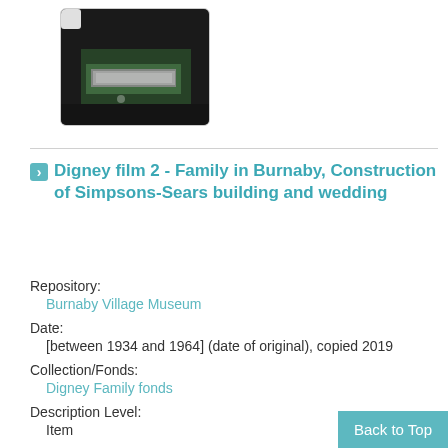[Figure (photo): Thumbnail image showing an aerial or elevated view of a building surrounded by trees, dark background with a structure visible.]
Digney film 2 - Family in Burnaby, Construction of Simpsons-Sears building and wedding
Repository:
Burnaby Village Museum
Date:
[between 1934 and 1964] (date of original), copied 2019
Collection/Fonds:
Digney Family fonds
Description Level:
Item
Physical Description:
1 mp4 video (26 min., 51 sec.) : digital, 16 fps, c